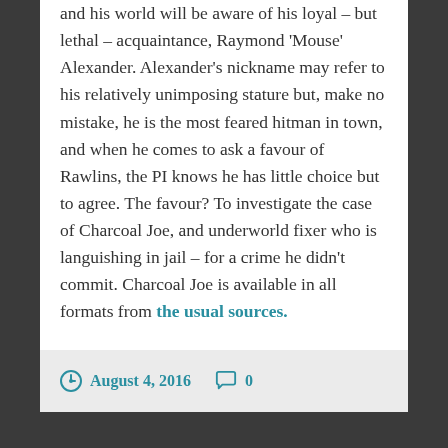and his world will be aware of his loyal – but lethal – acquaintance, Raymond 'Mouse' Alexander. Alexander's nickname may refer to his relatively unimposing stature but, make no mistake, he is the most feared hitman in town, and when he comes to ask a favour of Rawlins, the PI knows he has little choice but to agree. The favour? To investigate the case of Charcoal Joe, and underworld fixer who is languishing in jail – for a crime he didn't commit. Charcoal Joe is available in all formats from the usual sources.
August 4, 2016   0